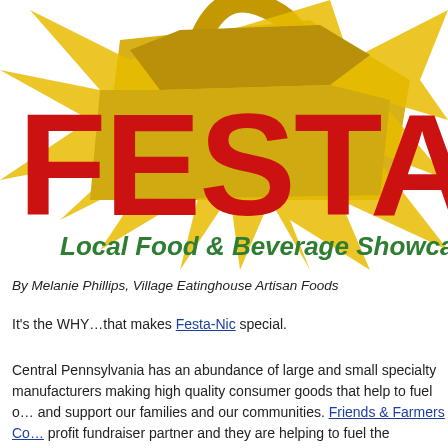[Figure (logo): Festa-Nic Local Food & Beverage Showcase logo with large red bold text 'FESTA-NIC' partially cropped, golden/yellow shopping bag graphic in background, and green italic subtitle text 'Local Food & Beverage Showcase']
By Melanie Phillips, Village Eatinghouse Artisan Foods
It's the WHY…that makes Festa-Nic special.
Central Pennsylvania has an abundance of large and small specialty manufacturers making high quality consumer goods that help to fuel o… and support our families and our communities. Friends & Farmers Co… profit fundraiser partner and they are helping to fuel the excitement a… Festa-Nic.